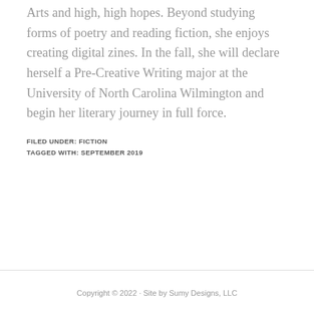Arts and high, high hopes. Beyond studying forms of poetry and reading fiction, she enjoys creating digital zines. In the fall, she will declare herself a Pre-Creative Writing major at the University of North Carolina Wilmington and begin her literary journey in full force.
FILED UNDER: FICTION
TAGGED WITH: SEPTEMBER 2019
Copyright © 2022 · Site by Sumy Designs, LLC